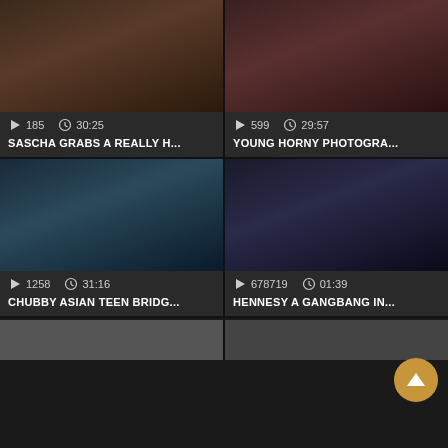[Figure (screenshot): Video thumbnail grid showing adult content video listings with thumbnails, play counts, durations, and titles. Top-left: SASCHA GRABS A REALLY H... (185 plays, 30:25). Top-right: YOUNG HORNY PHOTOGRA... (599 plays, 29:57). Bottom-left: CHUBBY ASIAN TEEN BRIDG... (1258 plays, 31:16). Bottom-right: HENNESY A GANGBANG IN... (678719 plays, 01:39). Partial bottom row visible.]